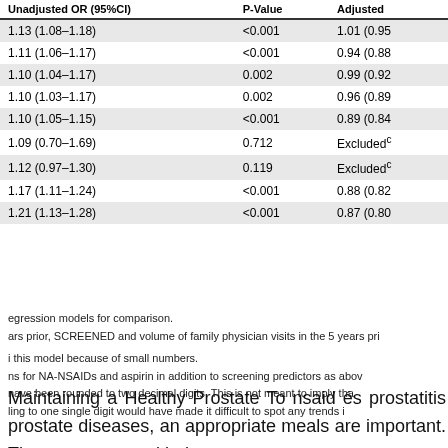| Unadjusted OR (95%CI) | P-Value | Adjusted |
| --- | --- | --- |
| 1.13 (1.08–1.18) | <0.001 | 1.01 (0.95 |
| 1.11 (1.06–1.17) | <0.001 | 0.94 (0.88 |
| 1.10 (1.04–1.17) | 0.002 | 0.99 (0.92 |
| 1.10 (1.03–1.17) | 0.002 | 0.96 (0.89 |
| 1.10 (1.05–1.15) | <0.001 | 0.89 (0.84 |
| 1.09 (0.70–1.69) | 0.712 | Excludedᶜ |
| 1.12 (0.97–1.30) | 0.119 | Excludedᶜ |
| 1.17 (1.11–1.24) | <0.001 | 0.88 (0.82 |
| 1.21 (1.13–1.28) | <0.001 | 0.87 (0.80 |
egression models for comparison.
ars prior, SCREENED and volume of family physician visits in the 5 years pri
i this model because of small numbers.
ns for NA-NSAIDs and aspirin in addition to screening predictors as abov
nave been rounded to two decimal digits. This is not meant to imply tha
ling to one single digit would have made it difficult to spot any trends i
Maintaining a Healthy Prostate To nsaid és prostatitis prostate diseases, an appropriate meals are important. These are some with the